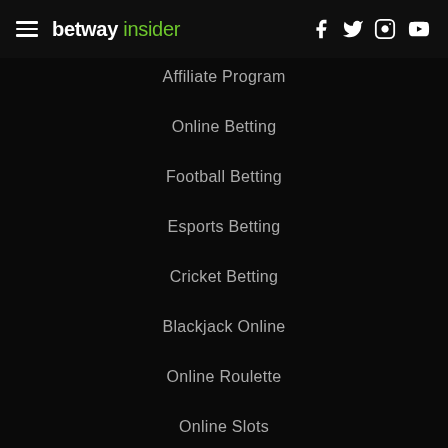betway insider — navigation header with hamburger menu and social icons (Facebook, Twitter, Instagram, YouTube)
Affiliate Program
Online Betting
Football Betting
Esports Betting
Cricket Betting
Blackjack Online
Online Roulette
Online Slots
Live Casino